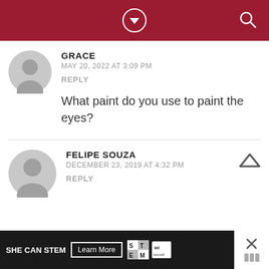GRACE
MAY 20, 2022 AT 3:09 PM
REPLY

What paint do you use to paint the eyes?
FELIPE SOUZA
DECEMBER 23, 2019 AT 4:32 PM
REPLY
[Figure (infographic): SHE CAN STEM advertisement banner with Learn More button, STEM logo, Ad Council logo, and close button]